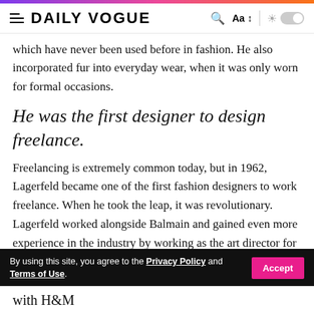DAILY VOGUE
which have never been used before in fashion. He also incorporated fur into everyday wear, when it was only worn for formal occasions.
He was the first designer to design freelance.
Freelancing is extremely common today, but in 1962, Lagerfeld became one of the first fashion designers to work freelance. When he took the leap, it was revolutionary. Lagerfeld worked alongside Balmain and gained even more experience in the industry by working as the art director for Jean Patou. Soon after, he began freelancing for a multitude of brands, including Valentino, Chloe, Krizia, and Charles Jourdan.
By using this site, you agree to the Privacy Policy and Terms of Use.